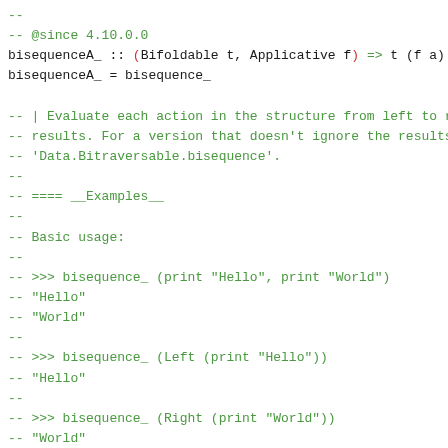-- 
-- @since 4.10.0.0
bisequenceA_ :: (Bifoldable t, Applicative f) => t (f a)
bisequenceA_ = bisequence_

-- | Evaluate each action in the structure from left to r
-- results. For a version that doesn't ignore the results
-- 'Data.Bitraversable.bisequence'.
--
-- ==== __Examples__
--
-- Basic usage:
--
-- >>> bisequence_ (print "Hello", print "World")
-- "Hello"
-- "World"
--
-- >>> bisequence_ (Left (print "Hello"))
-- "Hello"
--
-- >>> bisequence_ (Right (print "World"))
-- "World"
--
-- @since 4.10.0.0
bisequence_ :: (Bifoldable t, Applicative f) => t (f a)
bisequence_ = bifoldr (*>) (*>) (pure ())

-- | The sum of a collection of actions, generalizing 'bi
--
-- ==== __Examples__